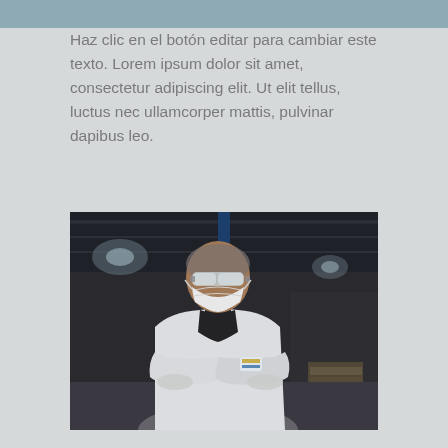Haz clic en el botón editar para cambiar este texto. Lorem ipsum dolor sit amet, consectetur adipiscing elit. Ut elit tellus, luctus nec ullamcorper mattis, pulvinar dapibus leo.
[Figure (photo): A person wearing a white lab coat, hairnet, safety goggles, and an N95 face mask stands with arms crossed inside a large industrial warehouse or factory setting. Blue metal shelving racks and industrial lighting are visible in the background.]